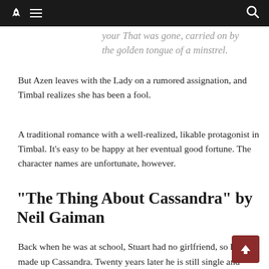[Navigation bar with rocket logo, hamburger menu, search icon]
your  That was gone, carried on by the golden tongue of a minstrel.
But Azen leaves with the Lady on a rumored assignation, and Timbal realizes she has been a fool.
A traditional romance with a well-realized, likable protagonist in Timbal. It’s easy to be happy at her eventual good fortune. The character names are unfortunate, however.
“The Thing About Cassandra” by Neil Gaiman
Back when he was at school, Stuart had no girlfriend, so he made up Cassandra. Twenty years later he is still single and trying to convince his mother he isn’t gay,